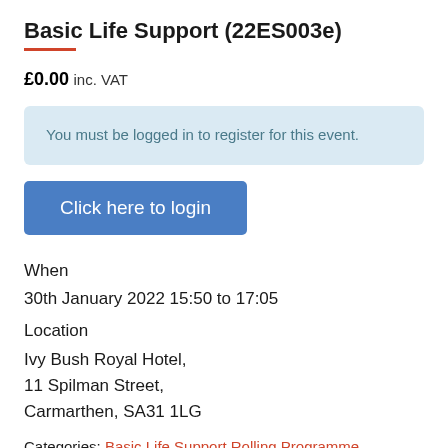Basic Life Support (22ES003e)
£0.00 inc. VAT
You must be logged in to register for this event.
Click here to login
When
30th January 2022 15:50 to 17:05
Location
Ivy Bush Royal Hotel,
11 Spilman Street,
Carmarthen, SA31 1LG
Categories: Basic Life Support Rolling Programme,